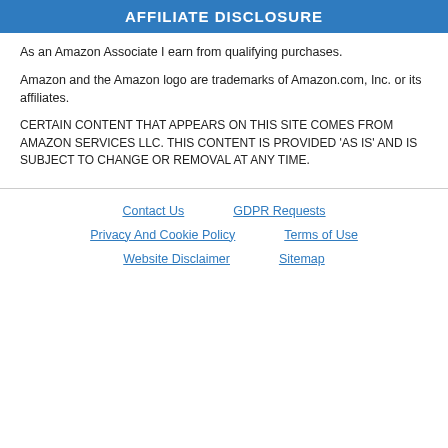AFFILIATE DISCLOSURE
As an Amazon Associate I earn from qualifying purchases.
Amazon and the Amazon logo are trademarks of Amazon.com, Inc. or its affiliates.
CERTAIN CONTENT THAT APPEARS ON THIS SITE COMES FROM AMAZON SERVICES LLC. THIS CONTENT IS PROVIDED 'AS IS' AND IS SUBJECT TO CHANGE OR REMOVAL AT ANY TIME.
Contact Us   GDPR Requests   Privacy And Cookie Policy   Terms of Use   Website Disclaimer   Sitemap